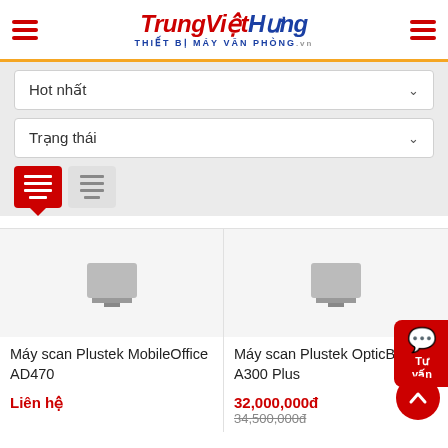TrungViệtHưng - THIẾT BỊ MÁY VĂN PHÒNG.vn
Hot nhất
Trạng thái
[Figure (screenshot): View toggle buttons: grid view (active, red) and list view (inactive, grey)]
Máy scan Plustek MobileOffice AD470
Liên hệ
Máy scan Plustek OpticBook A300 Plus
32,000,000đ
34,500,000đ